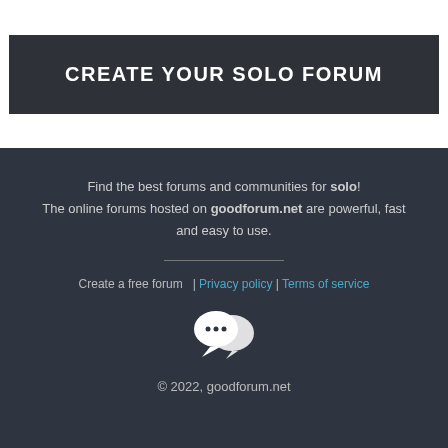CREATE YOUR SOLO FORUM
Find the best forums and communities for solo! The online forums hosted on goodforum.net are powerful, fast and easy to use.
Create a free forum  |  Privacy policy  |  Terms of service
© 2022, goodforum.net